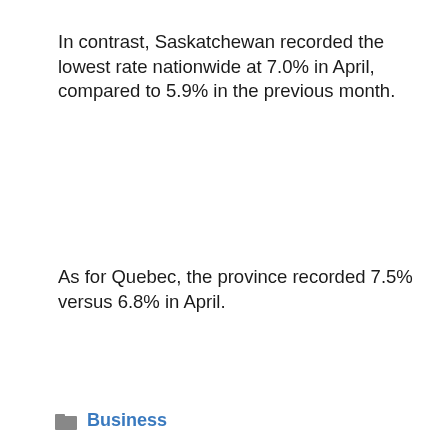In contrast, Saskatchewan recorded the lowest rate nationwide at 7.0% in April, compared to 5.9% in the previous month.
As for Quebec, the province recorded 7.5% versus 6.8% in April.
Business
We use cookies on our website to give you the most relevant experience by remembering your preferences and repeat visits. By clicking “Accept All”, you consent to the use of ALL the cookies. However, you may visit "Cookie Settings" to provide a controlled consent.